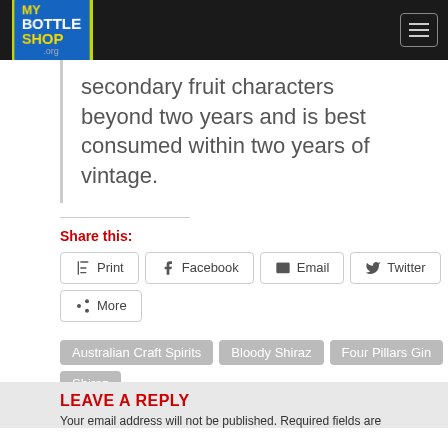[Figure (logo): My Bottleshop logo on dark navigation bar with menu button]
secondary fruit characters beyond two years and is best consumed within two years of vintage.
Share this:
Print  Facebook  Email  Twitter  More
Australian Craft Spirits  Bloody Shiraz  Four Pillars Gin  Shiraz
LEAVE A REPLY
Your email address will not be published. Required fields are